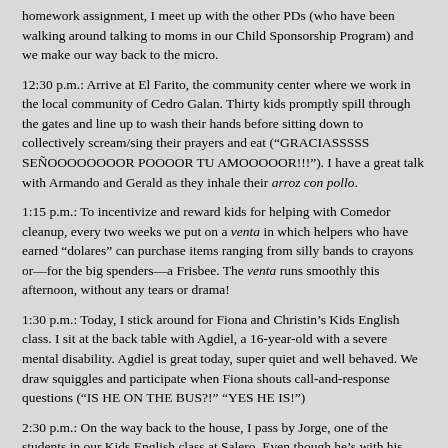homework assignment, I meet up with the other PDs (who have been walking around talking to moms in our Child Sponsorship Program) and we make our way back to the micro.
12:30 p.m.: Arrive at El Farito, the community center where we work in the local community of Cedro Galan. Thirty kids promptly spill through the gates and line up to wash their hands before sitting down to collectively scream/sing their prayers and eat (“GRACIASSSSS SEÑOOOOOOOOR POOOOR TU AMOOOOOR!!!”). I have a great talk with Armando and Gerald as they inhale their arroz con pollo.
1:15 p.m.: To incentivize and reward kids for helping with Comedor cleanup, every two weeks we put on a venta in which helpers who have earned “dolares” can purchase items ranging from silly bands to crayons or—for the big spenders—a Frisbee. The venta runs smoothly this afternoon, without any tears or drama!
1:30 p.m.: Today, I stick around for Fiona and Christin’s Kids English class. I sit at the back table with Agdiel, a 16-year-old with a severe mental disability. Agdiel is great today, super quiet and well behaved. We draw squiggles and participate when Fiona shouts call-and-response questions (“IS HE ON THE BUS?!” “YES HE IS!”)
2:30 p.m.: On the way back to the house, I pass by Jorge, one of the students in our Kids English class at Salero. Even though he’s with his cool friends, Jorge still waves to me! Yes!
3:15 p.m: Get home and help Carrie and Anna to prep for the women’s exercise pool party. Today, all of the regular attendees of women’s exercise are coming to